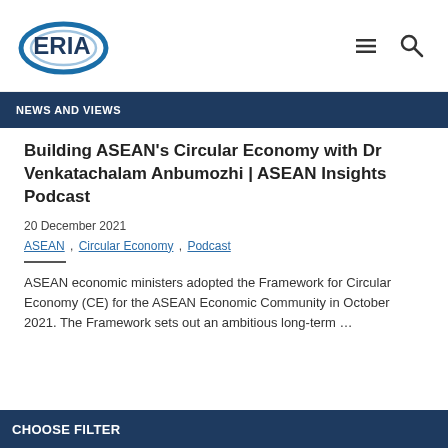ERIA logo, navigation menu and search icons
NEWS AND VIEWS
Building ASEAN's Circular Economy with Dr Venkatachalam Anbumozhi | ASEAN Insights Podcast
20 December 2021
ASEAN , Circular Economy , Podcast
ASEAN economic ministers adopted the Framework for Circular Economy (CE) for the ASEAN Economic Community in October 2021. The Framework sets out an ambitious long-term …
CHOOSE FILTER